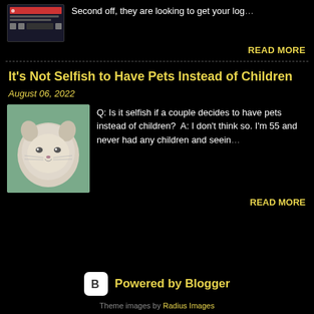[Figure (screenshot): Small screenshot thumbnail of a social media or messaging app interface]
Second off, they are looking to get your log…
READ MORE
It's Not Selfish to Have Pets Instead of Children
August 06, 2022
[Figure (photo): Photo of a cute stuffed animal cat/seal plush toy]
Q: Is it selfish if a couple decides to have pets instead of children?  A: I don't think so.  I'm 55 and never had any children and seein…
READ MORE
[Figure (logo): Powered by Blogger badge with B logo icon]
Theme images by Radius Images